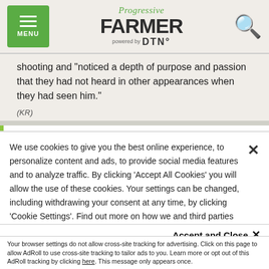Progressive FARMER powered by DTN
shooting and "noticed a depth of purpose and passion that they had not heard in other appearances when they had seen him."
(KR)
Related Content
We use cookies to give you the best online experience, to personalize content and ads, to provide social media features and to analyze traffic. By clicking 'Accept All Cookies' you will allow the use of these cookies. Your settings can be changed, including withdrawing your consent at any time, by clicking 'Cookie Settings'. Find out more on how we and third parties use cookies in our Cookie Policy
Accept and Close
Your browser settings do not allow cross-site tracking for advertising. Click on this page to allow AdRoll to use cross-site tracking to tailor ads to you. Learn more or opt out of this AdRoll tracking by clicking here. This message only appears once.